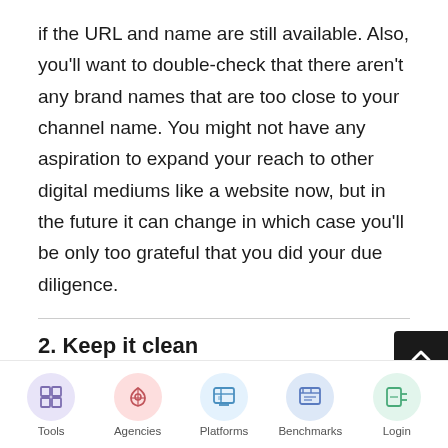if the URL and name are still available. Also, you'll want to double-check that there aren't any brand names that are too close to your channel name. You might not have any aspiration to expand your reach to other digital mediums like a website now, but in the future it can change in which case you'll be only too grateful that you did your due diligence.
2. Keep it clean
Profanity or vulgarity might discourage some users from...
Tools | Agencies | Platforms | Benchmarks | Login